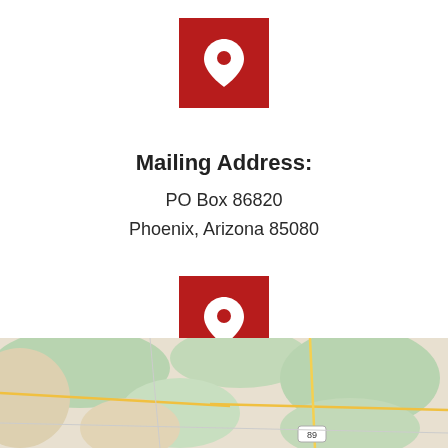[Figure (illustration): Red square icon with white map pin/location marker]
Mailing Address:
PO Box 86820
Phoenix, Arizona 85080
[Figure (illustration): Red square icon with white map pin/location marker]
Location
2329 E Spruce Ave
Flagstaff, Arizona 86004
[Figure (map): Street map showing Flagstaff, Arizona area with road 89 visible]